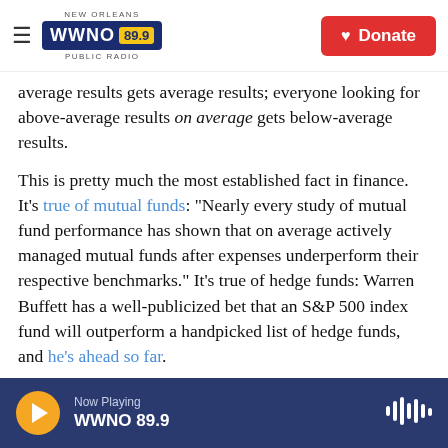NEW ORLEANS WWNO 89.9 PUBLIC RADIO | Donate
average results gets average results; everyone looking for above-average results on average gets below-average results.

This is pretty much the most established fact in finance. It's true of mutual funds: "Nearly every study of mutual fund performance has shown that on average actively managed mutual funds after expenses underperform their respective benchmarks." It's true of hedge funds: Warren Buffett has a well-publicized bet that an S&P 500 index fund will outperform a handpicked list of hedge funds, and he's ahead so far.
Now Playing WWNO 89.9